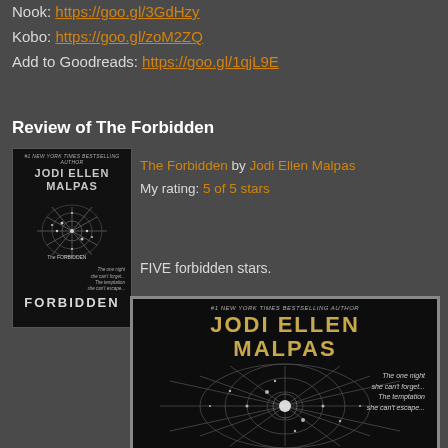Nook: https://goo.gl/3GdHzy
Kobo: https://goo.gl/zoM2ZQ
Add to Goodreads: https://goo.gl/1qjL9E
Review of The Forbidden
[Figure (photo): Book cover of The Forbidden by Jodi Ellen Malpas — black cover with spider web design, small thumbnail version]
The Forbidden by Jodi Ellen Malpas
My rating: 5 of 5 stars

FIVE forbidden stars.
[Figure (photo): Large book cover of The Forbidden by Jodi Ellen Malpas — dark background with glowing jeweled spider web, golden author name, tagline: The one night she can't forget... The temptation she can't escape...]